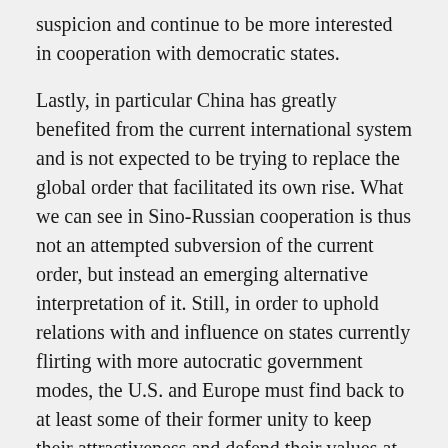suspicion and continue to be more interested in cooperation with democratic states.
Lastly, in particular China has greatly benefited from the current international system and is not expected to be trying to replace the global order that facilitated its own rise. What we can see in Sino-Russian cooperation is thus not an attempted subversion of the current order, but instead an emerging alternative interpretation of it. Still, in order to uphold relations with and influence on states currently flirting with more autocratic government modes, the U.S. and Europe must find back to at least some of their former unity to keep their attractiveness and defend their values at times of China and Russia's increasingly assertive behavior.